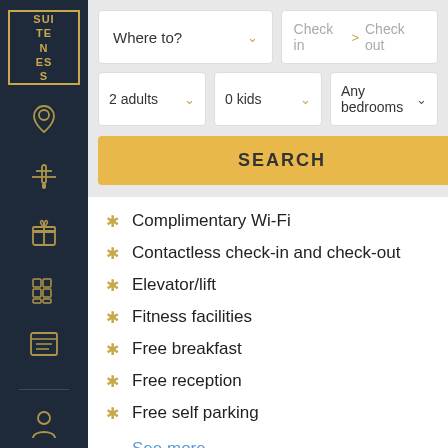[Figure (logo): Suiteness logo: gold bordered box with text SUITENESS on dark navy sidebar]
Complimentary Wi-Fi
Contactless check-in and check-out
Elevator/lift
Fitness facilities
Free breakfast
Free reception
Free self parking
See more